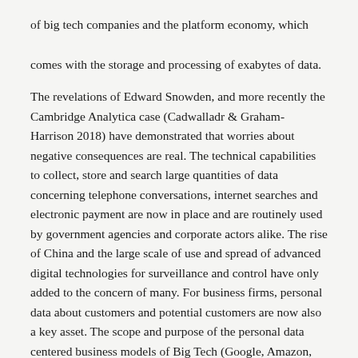of big tech companies and the platform economy, which comes with the storage and processing of exabytes of data.
The revelations of Edward Snowden, and more recently the Cambridge Analytica case (Cadwalladr & Graham-Harrison 2018) have demonstrated that worries about negative consequences are real. The technical capabilities to collect, store and search large quantities of data concerning telephone conversations, internet searches and electronic payment are now in place and are routinely used by government agencies and corporate actors alike. The rise of China and the large scale of use and spread of advanced digital technologies for surveillance and control have only added to the concern of many. For business firms, personal data about customers and potential customers are now also a key asset. The scope and purpose of the personal data centered business models of Big Tech (Google, Amazon, Facebook, Microsoft, Apple) has been described in detail by Shoshana Zuboff (2018) under the label “surveillance capitalism”.
The impact of information technology on privacy